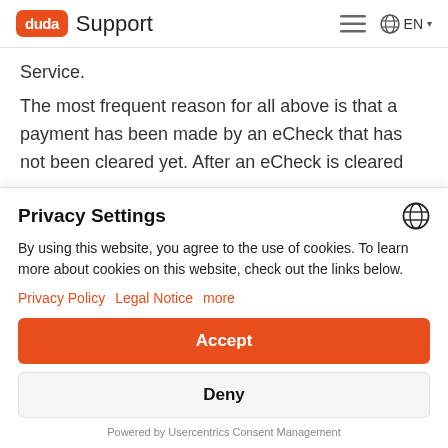duda Support  EN
Service.
The most frequent reason for all above is that a payment has been made by an eCheck that has not been cleared yet. After an eCheck is cleared
Privacy Settings
By using this website, you agree to the use of cookies. To learn more about cookies on this website, check out the links below.
Privacy Policy  Legal Notice  more
Accept
Deny
Powered by Usercentrics Consent Management